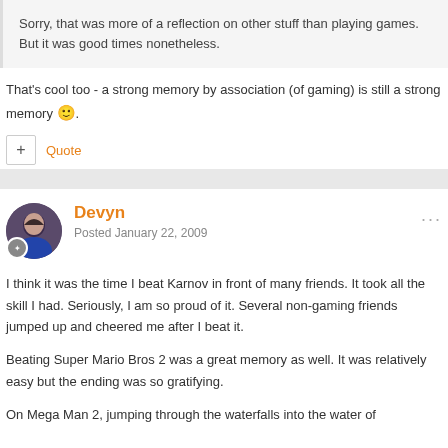Sorry, that was more of a reflection on other stuff than playing games. But it was good times nonetheless.
That's cool too - a strong memory by association (of gaming) is still a strong memory 🙂.
Quote
Devyn
Posted January 22, 2009
I think it was the time I beat Karnov in front of many friends. It took all the skill I had. Seriously, I am so proud of it. Several non-gaming friends jumped up and cheered me after I beat it.
Beating Super Mario Bros 2 was a great memory as well. It was relatively easy but the ending was so gratifying.
On Mega Man 2, jumping through the waterfalls into the water of